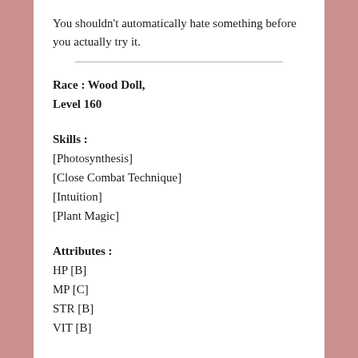You shouldn't automatically hate something before you actually try it.
Race : Wood Doll,
Level 160
Skills :
[Photosynthesis]
[Close Combat Technique]
[Intuition]
[Plant Magic]
Attributes :
HP [B]
MP [C]
STR [B]
VIT [B]